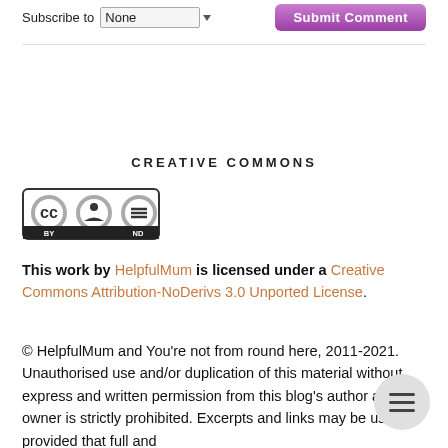Subscribe to None  Submit Comment
CREATIVE COMMONS
[Figure (logo): Creative Commons BY ND license badge with CC, BY, and ND icons in black and white]
This work by HelpfulMum is licensed under a Creative Commons Attribution-NoDerivs 3.0 Unported License.
© HelpfulMum and You're not from round here, 2011-2021. Unauthorised use and/or duplication of this material without express and written permission from this blog's author and/or owner is strictly prohibited. Excerpts and links may be used, provided that full and